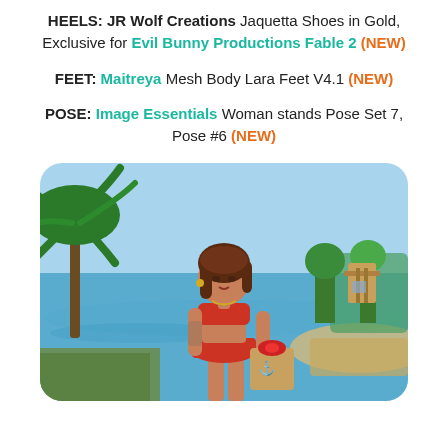HEELS:  JR Wolf Creations Jaquetta Shoes in Gold, Exclusive for Evil Bunny Productions Fable 2 (NEW)
FEET:  Maitreya Mesh Body Lara Feet V4.1 (NEW)
POSE:  Image Essentials Woman stands Pose Set 7, Pose  #6 (NEW)
[Figure (photo): A virtual 3D avatar woman in a red outfit standing on a tropical beach with palm trees, water, and a lifeguard tower in the background, holding a gift bag with a red bow.]